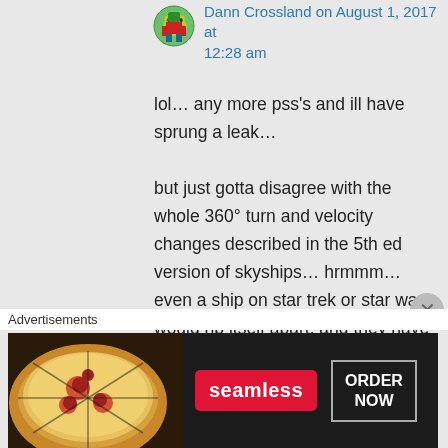Dann Crossland on August 1, 2017 at 12:28 am
lol… any more pss's and ill have sprung a leak…

but just gotta disagree with the whole 360° turn and velocity changes described in the 5th ed version of skyships… hrmmm… even a ship on star trek or star wars would rip itself apart, and they have inertial dampners… lol
and while the sphere of influence has a gravity down, i not so sure
Advertisements
[Figure (photo): Seamless food delivery advertisement banner with pizza image, red Seamless logo, and ORDER NOW button]